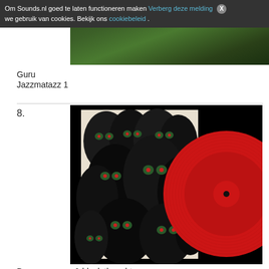Om Sounds.nl goed te laten functioneren maken we gebruik van cookies. Bekijk ons cookiebeleid . [Verberg deze melding] [X]
[Figure (photo): Album cover image - green nature/forest background, top portion of a vinyl record listing page]
Guru
Jazzmatazz 1
8.
[Figure (photo): Vinyl record album art showing black and white illustration of band members with glowing eyes, alongside a red vinyl record disc. Black background.]
Danger mouse & black thought